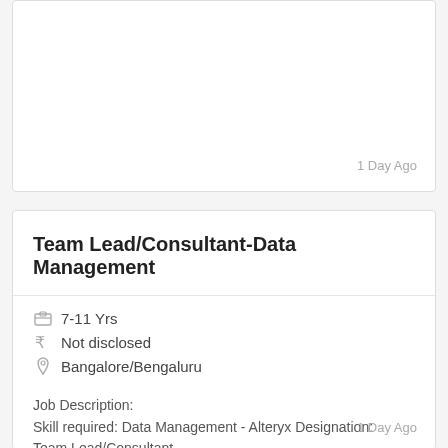1 Day Ago
Team Lead/Consultant-Data Management
7-11 Yrs
Not disclosed
Bangalore/Bengaluru
Job Description:
Skill required: Data Management - Alteryx Designation: Team Lead/Consultant…
1 Day Ago